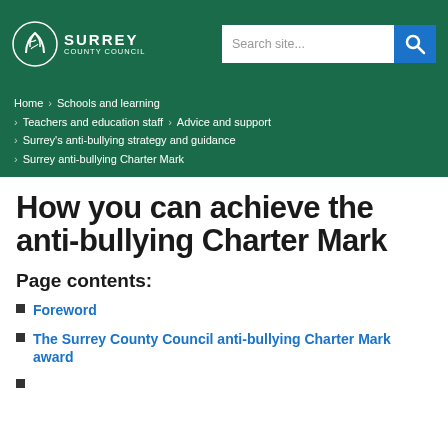[Figure (logo): Surrey County Council logo - white tree/leaf icon with SURREY COUNTY COUNCIL text in white on dark green background]
Search site...
Home > Schools and learning > Teachers and education staff > Advice and support > Surrey's anti-bullying strategy and guidance > Surrey anti-bullying Charter Mark
How you can achieve the anti-bullying Charter Mark
Page contents:
Foreword
The Surrey County Council anti-bullying Charter Mark award